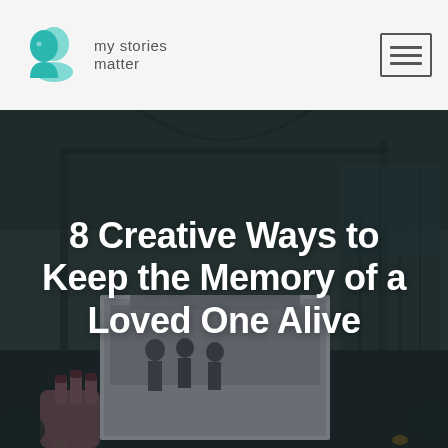my stories matter
[Figure (photo): Dark, moody outdoor photo of a house with a hand holding a black-and-white photograph of children in front of the same or similar house. The background is blurred with dark tones of greens and grays.]
8 Creative Ways to Keep the Memory of a Loved One Alive